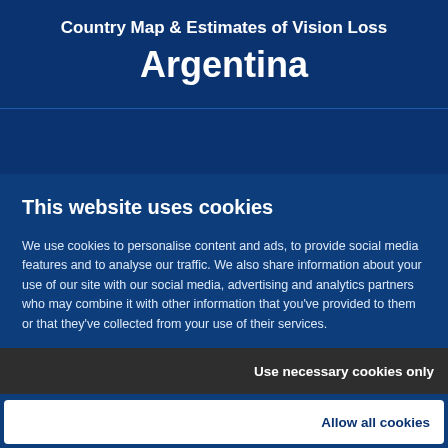Country Map & Estimates of Vision Loss
Argentina
This website uses cookies
We use cookies to personalise content and ads, to provide social media features and to analyse our traffic. We also share information about your use of our site with our social media, advertising and analytics partners who may combine it with other information that you've provided to them or that they've collected from your use of their services.
Use necessary cookies only
Allow all cookies